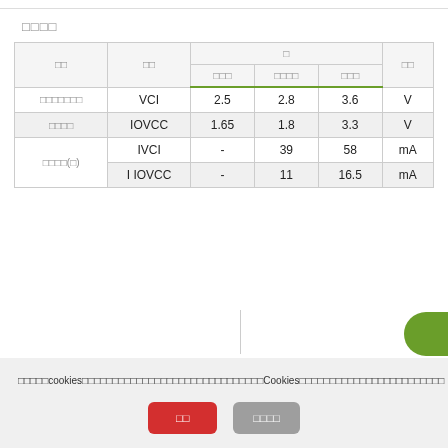□□□□
| □□ | □□ | □□□ | □□□ | □□□ | □□ |
| --- | --- | --- | --- | --- | --- |
| □□□□□□□ | VCI | 2.5 | 2.8 | 3.6 | V |
| □□□□ | IOVCC | 1.65 | 1.8 | 3.3 | V |
| □□□□(□) | IVCI | - | 39 | 58 | mA |
| □□□□(□) | I IOVCC | - | 11 | 16.5 | mA |
□□□□cookies□□□□□□□□□□□□□□□□□□□□□□□□□□□Cookies□□□□□□□□□□□□□□□□□□□□
□□
□□□□